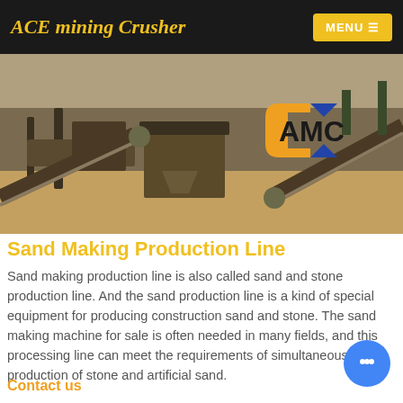ACE mining Crusher
[Figure (photo): Mining crusher facility with conveyor belts and heavy machinery at a sand production site. AMC logo overlaid on the right side.]
Sand Making Production Line
Sand making production line is also called sand and stone production line. And the sand production line is a kind of special equipment for producing construction sand and stone. The sand making machine for sale is often needed in many fields, and this processing line can meet the requirements of simultaneous production of stone and artificial sand.
Contact us